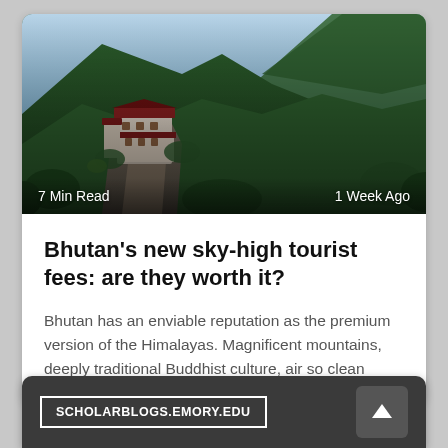[Figure (photo): Aerial or cliff-side view of a Bhutanese monastery (Paro Taktsang / Tiger's Nest) perched on rocky mountain with green forested hillsides and blue sky in background.]
7 Min Read
1 Week Ago
Bhutan's new sky-high tourist fees: are they worth it?
Bhutan has an enviable reputation as the premium version of the Himalayas. Magnificent mountains, deeply traditional Buddhist culture, air so clean
SCHOLARBLOGS.EMORY.EDU